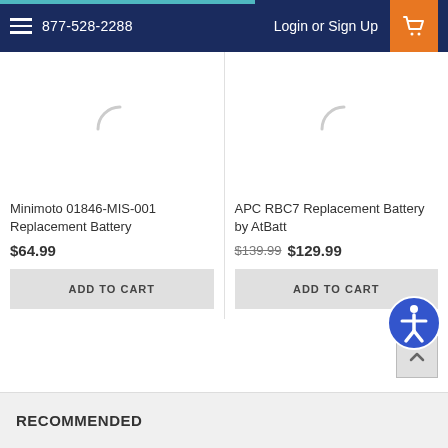877-528-2288  Login or Sign Up
[Figure (screenshot): Loading spinner / placeholder image for Minimoto 01846-MIS-001 Replacement Battery product card]
Minimoto 01846-MIS-001 Replacement Battery
$64.99
ADD TO CART
[Figure (screenshot): Loading spinner / placeholder image for APC RBC7 Replacement Battery by AtBatt product card]
APC RBC7 Replacement Battery by AtBatt
$139.99 $129.99
ADD TO CART
RECOMMENDED